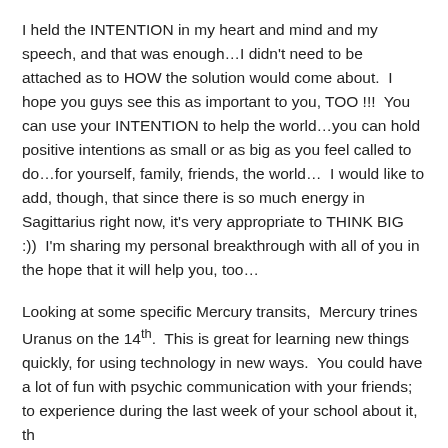I held the INTENTION in my heart and mind and my speech, and that was enough…I didn't need to be attached as to HOW the solution would come about.  I hope you guys see this as important to you, TOO !!!  You can use your INTENTION to help the world…you can hold positive intentions as small or as big as you feel called to do…for yourself, family, friends, the world…  I would like to add, though, that since there is so much energy in Sagittarius right now, it's very appropriate to THINK BIG :))  I'm sharing my personal breakthrough with all of you in the hope that it will help you, too…
Looking at some specific Mercury transits,  Mercury trines Uranus on the 14th.  This is great for learning new things quickly, for using technology in new ways.  You could have a lot of fun with psychic communication with your friends; to experience during the last week of your school about it, th